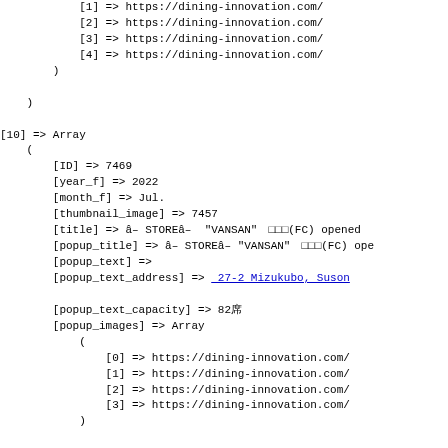Code/data dump showing PHP Array structure with keys [1]-[4] => https://dining-innovation.com/..., closing parentheses, [10] => Array with ID=>7469, year_f=>2022, month_f=>Jul., thumbnail_image=>7457, title, popup_title, popup_text, popup_text_address=>27-2 Mizukubo Suson..., popup_text_capacity=>82, popup_images=>Array with [0]-[3] => https://dining-innovation.com/..., closing parentheses, and [11] => Array beginning